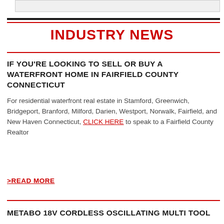INDUSTRY NEWS
IF YOU'RE LOOKING TO SELL OR BUY A WATERFRONT HOME IN FAIRFIELD COUNTY CONNECTICUT
For residential waterfront real estate in Stamford, Greenwich, Bridgeport, Branford, Milford, Darien, Westport, Norwalk, Fairfield, and New Haven Connecticut, CLICK HERE to speak to a Fairfield County Realtor
>READ MORE
METABO 18V CORDLESS OSCILLATING MULTI TOOL